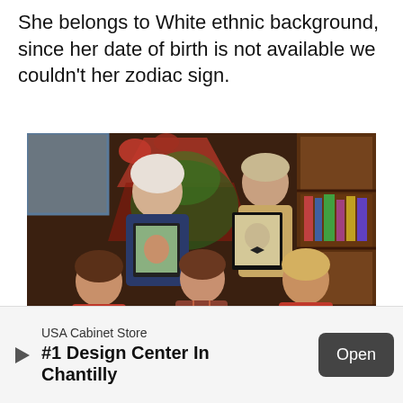She belongs to White ethnic background, since her date of birth is not available we couldn't her zodiac sign.
[Figure (photo): A group of five people posing together, holding framed photographs. They are gathered near a decorated Christmas tree with red ribbons. Two older individuals stand in the back, while three younger women are in the front. A large wooden bookshelf is visible on the right side.]
USA Cabinet Store
#1 Design Center In Chantilly
Open